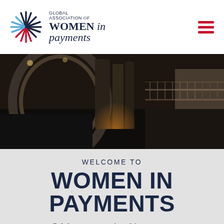[Figure (logo): Global Association of Women in Payments logo with starburst/pinwheel icon in red, white, and blue/navy colors, and text 'GLOBAL ASSOCIATION of WOMEN in payments']
[Figure (photo): Interior photo of an event venue showing curved architectural elements, balcony railings, and warm lighting in a dark setting]
WELCOME TO
WOMEN IN PAYMENTS
Celebrate women's achievements, innovation, and leadership in the